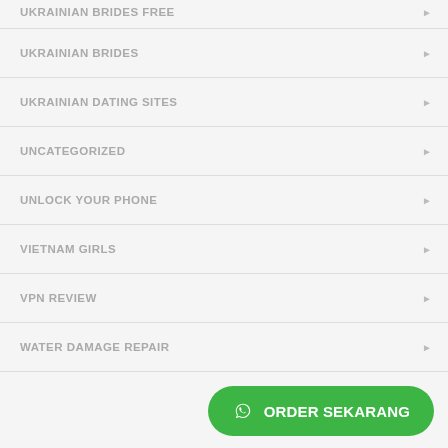UKRAINIAN BRIDES FREE
UKRAINIAN BRIDES
UKRAINIAN DATING SITES
UNCATEGORIZED
UNLOCK YOUR PHONE
VIETNAM GIRLS
VPN REVIEW
WATER DAMAGE REPAIR
ORDER SEKARANG